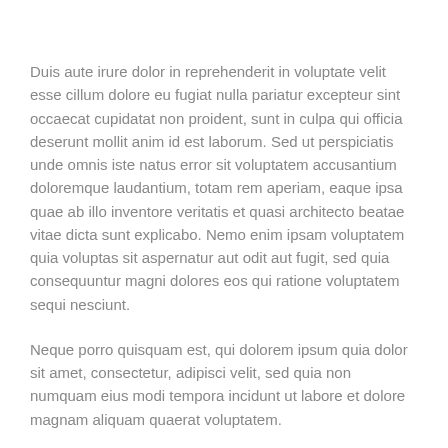Duis aute irure dolor in reprehenderit in voluptate velit esse cillum dolore eu fugiat nulla pariatur excepteur sint occaecat cupidatat non proident, sunt in culpa qui officia deserunt mollit anim id est laborum. Sed ut perspiciatis unde omnis iste natus error sit voluptatem accusantium doloremque laudantium, totam rem aperiam, eaque ipsa quae ab illo inventore veritatis et quasi architecto beatae vitae dicta sunt explicabo. Nemo enim ipsam voluptatem quia voluptas sit aspernatur aut odit aut fugit, sed quia consequuntur magni dolores eos qui ratione voluptatem sequi nesciunt.
Neque porro quisquam est, qui dolorem ipsum quia dolor sit amet, consectetur, adipisci velit, sed quia non numquam eius modi tempora incidunt ut labore et dolore magnam aliquam quaerat voluptatem.